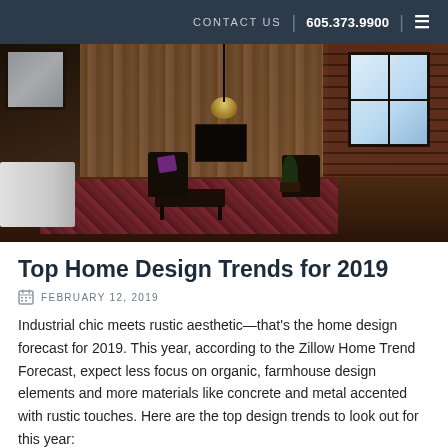CONTACT US | 605.373.9900
[Figure (photo): Interior photo of an industrial-chic living room with wood-paneled walls, exposed brick, large factory windows, pendant lighting, dark hardwood floors, a colorful patterned rug, mid-century modern furniture and chairs.]
Top Home Design Trends for 2019
FEBRUARY 12, 2019
Industrial chic meets rustic aesthetic—that's the home design forecast for 2019. This year, according to the Zillow Home Trend Forecast, expect less focus on organic, farmhouse design elements and more materials like concrete and metal accented with rustic touches. Here are the top design trends to look out for this year: